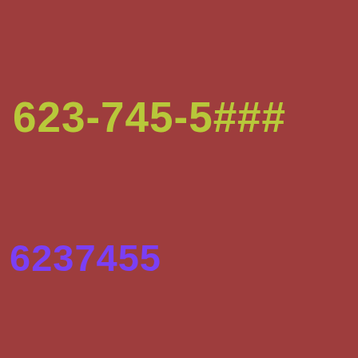623-745-5###
6237455
207-346-4969 FairPoint Communications Business Search 904-245-8421 AT&T Southeast Business Search 313-923-1284 AT&T Michigan Business Search 413-597-7521 Verizon Communications Business Search 330-272-4452 Level 3 Business Search 337-484-8893 Sprint Business Search 904-210-7711 AT&T Mobility Business Search 706-481-4279 AT&T Southeast Business Search 256-645-6998